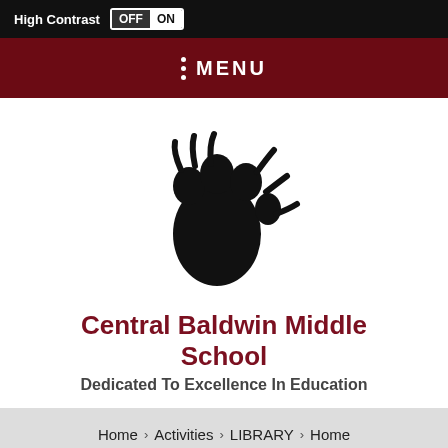High Contrast OFF ON
MENU
[Figure (logo): Black bear paw print logo for Central Baldwin Middle School]
Central Baldwin Middle School
Dedicated To Excellence In Education
Home › Activities › LIBRARY › Home